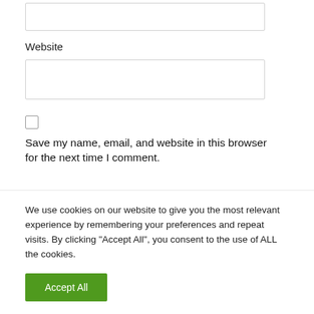[Figure (screenshot): Input text box (partially visible at top)]
Website
[Figure (screenshot): Website input text box (empty form field)]
[Figure (screenshot): Unchecked checkbox]
Save my name, email, and website in this browser for the next time I comment.
We use cookies on our website to give you the most relevant experience by remembering your preferences and repeat visits. By clicking “Accept All”, you consent to the use of ALL the cookies.
Accept All